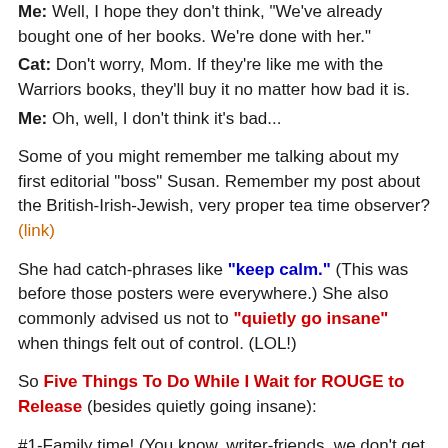Me: Well, I hope they don't think, "We've already bought one of her books. We're done with her."
Cat: Don't worry, Mom. If they're like me with the Warriors books, they'll buy it no matter how bad it is.
Me: Oh, well, I don't think it's bad...
Some of you might remember me talking about my first editorial "boss" Susan. Remember my post about the British-Irish-Jewish, very proper tea time observer? (link)
She had catch-phrases like "keep calm." (This was before those posters were everywhere.) She also commonly advised us not to "quietly go insane" when things felt out of control. (LOL!)
So Five Things To Do While I Wait for ROUGE to Release (besides quietly going insane):
#1-Family time! (You know, writer-friends, we don't get to do this enough. Bonus: my parents are visiting!)
#2-Make the bloggy rounds. (See what you guys are up to;